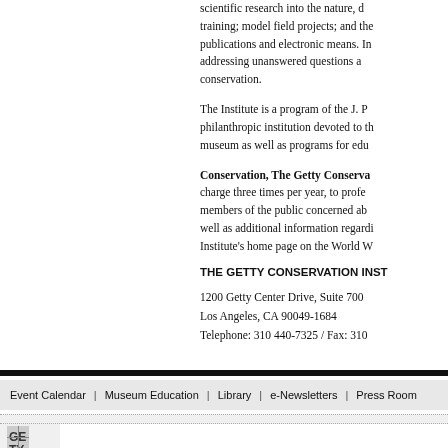scientific research into the nature, d... training; model field projects; and the... publications and electronic means. In... addressing unanswered questions a... conservation.
The Institute is a program of the J. P... philanthropic institution devoted to th... museum as well as programs for edu...
Conservation, The Getty Conserva... charge three times per year, to profe... members of the public concerned ab... well as additional information regardi... Institute's home page on the World W...
THE GETTY CONSERVATION INST...
1200 Getty Center Drive, Suite 700
Los Angeles, CA 90049-1684
Telephone: 310 440-7325 / Fax: 310...
Event Calendar | Museum Education | Library | e-Newsletters | Press Room